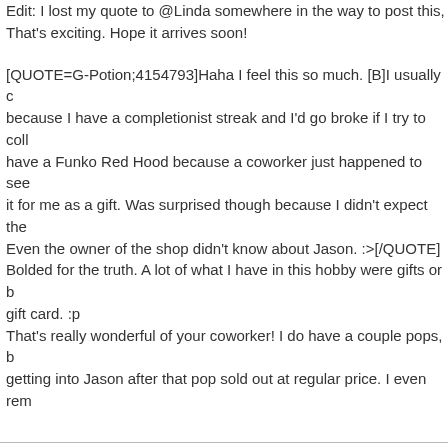Edit: I lost my quote to @Linda somewhere in the way to post this, That's exciting. Hope it arrives soon!
[QUOTE=G-Potion;4154793]Haha I feel this so much. [B]I usually c because I have a completionist streak and I'd go broke if I try to coll have a Funko Red Hood because a coworker just happened to see it for me as a gift. Was surprised though because I didn't expect the Even the owner of the shop didn't know about Jason. :>[/QUOTE] Bolded for the truth. A lot of what I have in this hobby were gifts or b gift card. :p That's really wonderful of your coworker! I do have a couple pops, b getting into Jason after that pop sold out at regular price. I even rem
Sergard
[URL="https://twitter.com/Si0g0/status/1087862071621021697"]Si0g
[IMG]https://pbs.twimg.com/media/DxjcItsWoAAI8ur.jpg[/IMG]
[IMG]https://pbs.twimg.com/media/DxjcmTvX0AUQAmZ.jpg[/IMG]
RedBird
[URL=https://twitter.com/Si0g0/status/108...